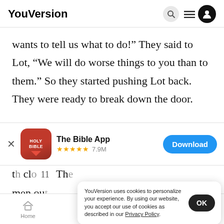YouVersion
wants to tell us what to do!” They said to Lot, “We will do worse things to you than to them.” So they started pushing Lot back. They were ready to break down the door.
[Figure (screenshot): App download banner for 'The Bible App' with Holy Bible icon, 5-star rating and 7.9M reviews, and a blue Download button]
th clo 11 Th
men ou
YouVersion uses cookies to personalize your experience. By using our website, you accept our use of cookies as described in our Privacy Policy.
men, both young and old, could not find the door
Home   Bible   Plans   Videos